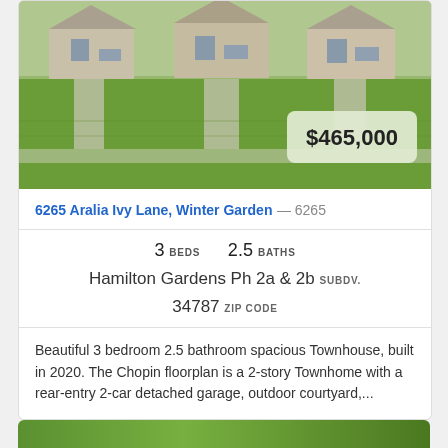[Figure (photo): Exterior photo of townhouse row with green lawn, driveways, and $465,000 price badge overlay]
6265 Aralia Ivy Lane, Winter Garden — 6265
3 BEDS   2.5 BATHS
Hamilton Gardens Ph 2a & 2b SUBDV.
34787 ZIP CODE
Beautiful 3 bedroom 2.5 bathroom spacious Townhouse, built in 2020. The Chopin floorplan is a 2-story Townhome with a rear-entry 2-car detached garage, outdoor courtyard,...